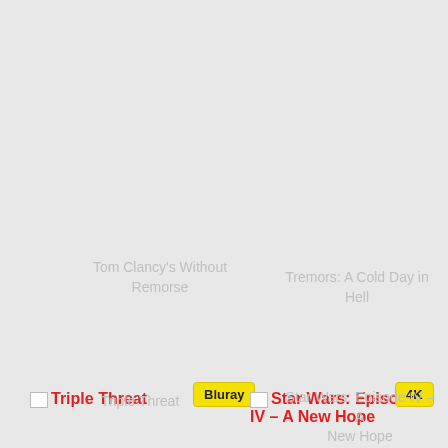Tom Clancy's Without Remorse
Tremors: A Cold Day in Hell
[Figure (screenshot): Movie listing grid showing Triple Threat with Bluray badge and Star Wars: Episode IV - A New Hope with 4K badge]
Triple Threat
Star Wars: Episode IV – A New Hope